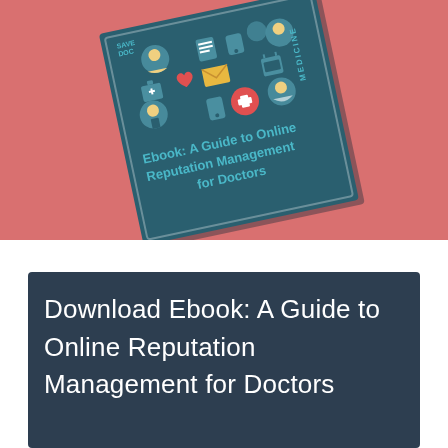[Figure (illustration): An ebook cover titled 'Ebook: A Guide to Online Reputation Management for Doctors' on a salmon/coral pink background. The cover is a dark teal square displayed at an angle, featuring various medical and digital communication icons (person icons, email envelope, medical cross, phone, etc.) arranged in a network pattern at the top, with the title text in white and teal at the bottom.]
Download Ebook: A Guide to Online Reputation Management for Doctors